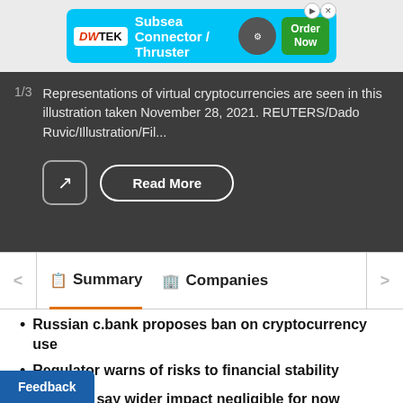[Figure (screenshot): Advertisement banner for DWTEK Subsea Connector / Thruster with Order Now button]
Representations of virtual cryptocurrencies are seen in this illustration taken November 28, 2021. REUTERS/Dado Ruvic/Illustration/Fil...
[Figure (screenshot): Expand button (arrow icon) and Read More button on dark background]
Summary   Companies
Russian c.bank proposes ban on cryptocurrency use
Regulator warns of risks to financial stability
Analysts say wider impact negligible for now
Ban on cryptocurrency exchanges also proposed